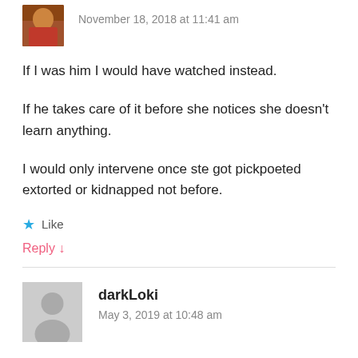[Figure (photo): Small avatar photo of a person in red/brown clothing, top-left corner]
November 18, 2018 at 11:41 am
If I was him I would have watched instead.
If he takes care of it before she notices she doesn't learn anything.
I would only intervene once ste got pickpoeted extorted or kidnapped not before.
★ Like
Reply ↓
[Figure (illustration): Generic user avatar silhouette in gray circle/square for darkLoki]
darkLoki
May 3, 2019 at 10:48 am